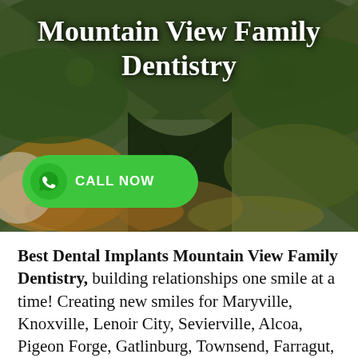[Figure (photo): Aerial photograph of a mountain valley covered in dense autumn forest with green, yellow, and orange foliage.]
Mountain View Family Dentistry
CALL NOW
Best Dental Implants Mountain View Family Dentistry, building relationships one smile at a time! Creating new smiles for Maryville, Knoxville, Lenoir City, Sevierville, Alcoa, Pigeon Forge, Gatlinburg, Townsend, Farragut, Walland, Greenback, Rockford,